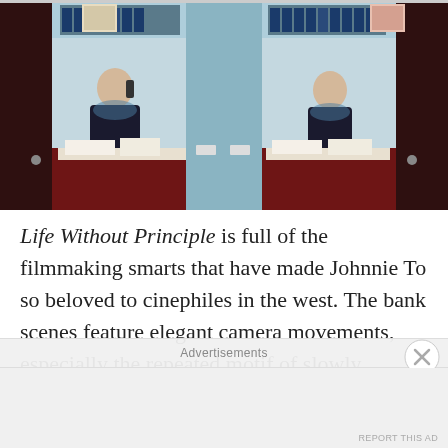[Figure (photo): A film still from Life Without Principle showing two bank tellers seated at desks behind glass partitions in a symmetrical composition. The color scheme features dark red wooden panels below and teal/grey glass above. Left teller is on the phone; right teller sits at her desk.]
Life Without Principle is full of the filmmaking smarts that have made Johnnie To so beloved to cinephiles in the west. The bank scenes feature elegant camera movements, especially the repeated motif of slowly pushing in on a character, which, combined with the gleaming surfaces and monochromatic red/blue color
Advertisements